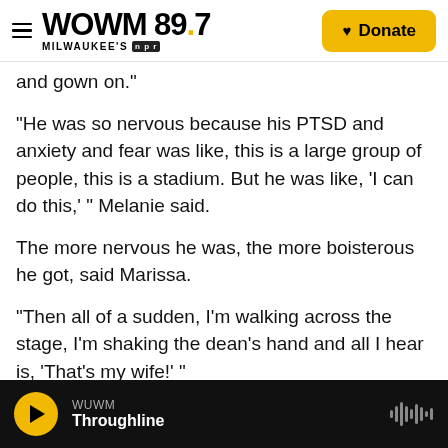WUWM 89.7 Milwaukee's NPR | Donate
and gown on."
"He was so nervous because his PTSD and anxiety and fear was like, this is a large group of people, this is a stadium. But he was like, 'I can do this,' " Melanie said.
The more nervous he was, the more boisterous he got, said Marissa.
"Then all of a sudden, I'm walking across the stage, I'm shaking the dean's hand and all I hear is, 'That's my wife!' "
WUWM Throughline